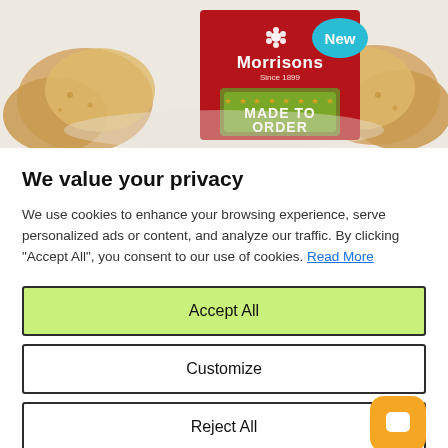[Figure (photo): Morrisons product package on a light background showing cookies/biscuits, with a red box labeled 'Made to [order]', Morrisons logo, and a cyan 'New' badge]
We value your privacy
We use cookies to enhance your browsing experience, serve personalized ads or content, and analyze our traffic. By clicking "Accept All", you consent to our use of cookies. Read More
Accept All
Customize
Reject All